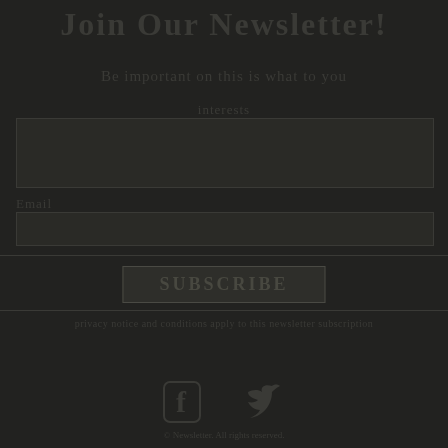Join Our Newsletter!
Be important on this is what to you
interests
Email
SUBSCRIBE
Privacy notice text
[Figure (illustration): Facebook and Twitter social media icons]